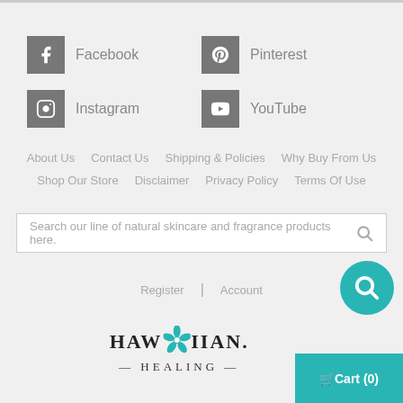[Figure (screenshot): Website navigation footer with social media icons (Facebook, Pinterest, Instagram, YouTube), navigation links, search bar, account links, Hawaiian Healing logo, and cart button.]
Facebook
Pinterest
Instagram
YouTube
About Us   Contact Us   Shipping & Policies   Why Buy From Us
Shop Our Store   Disclaimer   Privacy Policy   Terms Of Use
Search our line of natural skincare and fragrance products here.
Register | Account
HAWAIIAN HEALING